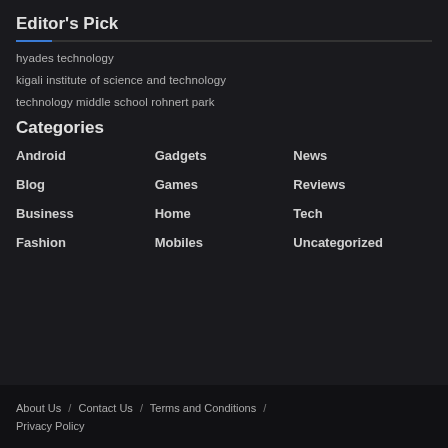Editor's Pick
hyades technology
kigali institute of science and technology
technology middle school rohnert park
Categories
Android
Gadgets
News
Blog
Games
Reviews
Business
Home
Tech
Fashion
Mobiles
Uncategorized
About Us / Contact Us / Terms and Conditions / Privacy Policy